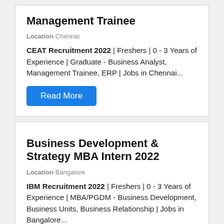Management Trainee
Location Chennai
CEAT Recruitment 2022 | Freshers | 0 - 3 Years of Experience | Graduate - Business Analyst, Management Trainee, ERP | Jobs in Chennai...
Read More
Business Development & Strategy MBA Intern 2022
Location Bangalore
IBM Recruitment 2022 | Freshers | 0 - 3 Years of Experience | MBA/PGDM - Business Development, Business Units, Business Relationship | Jobs in Bangalore...
Read More